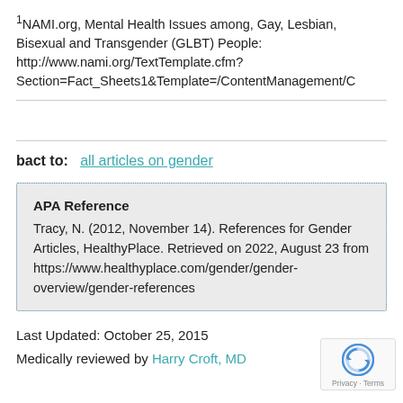¹NAMI.org, Mental Health Issues among, Gay, Lesbian, Bisexual and Transgender (GLBT) People: http://www.nami.org/TextTemplate.cfm?Section=Fact_Sheets1&Template=/ContentManagement/C
bact to:  all articles on gender
APA Reference
Tracy, N. (2012, November 14). References for Gender Articles, HealthyPlace. Retrieved on 2022, August 23 from https://www.healthyplace.com/gender/gender-overview/gender-references
Last Updated: October 25, 2015
Medically reviewed by Harry Croft, MD